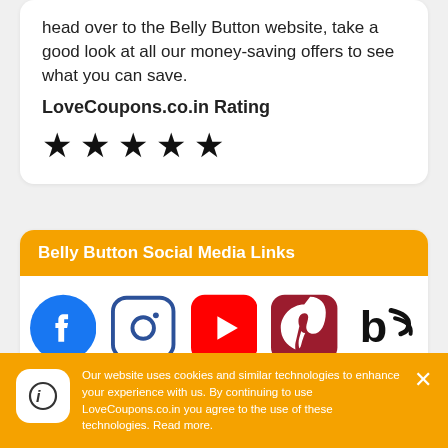head over to the Belly Button website, take a good look at all our money-saving offers to see what you can save.
LoveCoupons.co.in Rating
[Figure (other): Five black star rating icons]
Belly Button Social Media Links
[Figure (other): Social media icons: Facebook, Instagram, YouTube, Pinterest, Bloglovin]
Our website uses cookies and similar technologies to enhance your experience with us. By continuing to use LoveCoupons.co.in you agree to the use of these technologies. Read more.